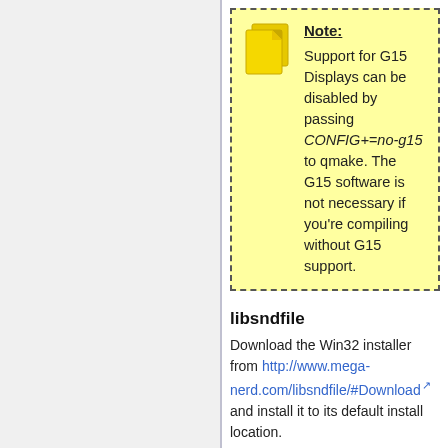Note: Support for G15 Displays can be disabled by passing CONFIG+=no-g15 to qmake. The G15 software is not necessary if you're compiling without G15 support.
libsndfile
Download the Win32 installer from http://www.mega-nerd.com/libsndfile/#Download and install it to its default install location.